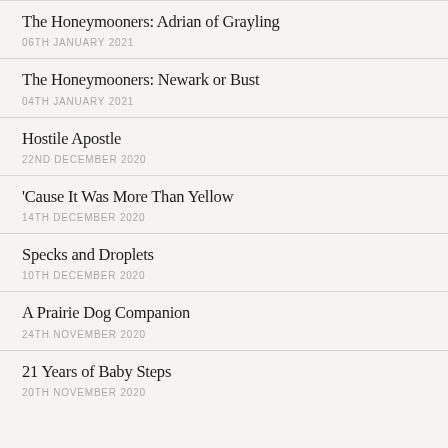The Honeymooners: Adrian of Grayling
06TH JANUARY 2021
The Honeymooners: Newark or Bust
04TH JANUARY 2021
Hostile Apostle
22ND DECEMBER 2020
'Cause It Was More Than Yellow
14TH DECEMBER 2020
Specks and Droplets
10TH DECEMBER 2020
A Prairie Dog Companion
24TH NOVEMBER 2020
21 Years of Baby Steps
20TH NOVEMBER 2020